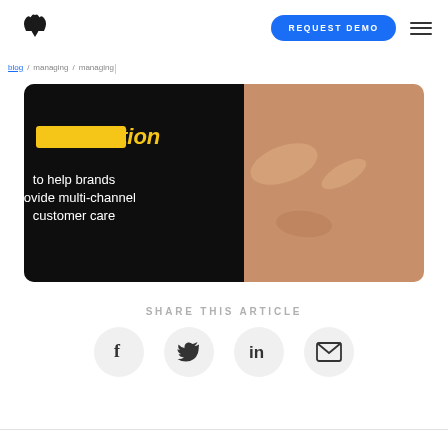REQUEST DEMO
[Figure (photo): Dark background with white bold italic text reading 'satisfaction to help brands provide multi-channel customer care', overlaid on a photo of hands touching gently]
SHARE THIS ARTICLE
[Figure (infographic): Four social sharing icon buttons in grey circles: Facebook, Twitter, LinkedIn, Email/envelope]